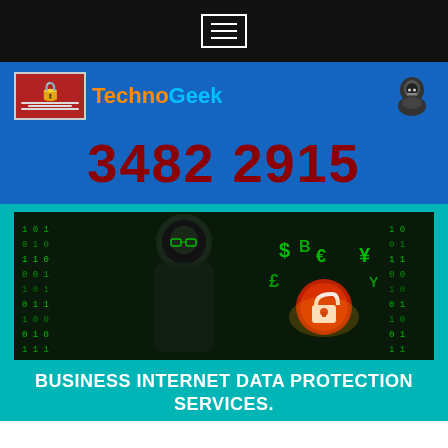Navigation bar with hamburger menu icon
[Figure (logo): TechnoGeek logo with ransomware screenshot and hacker icon]
3482 2915
[Figure (photo): Hacker in dark hoodie with green matrix code and currency symbols with a red padlock]
BUSINESS INTERNET DATA PROTECTION SERVICES.